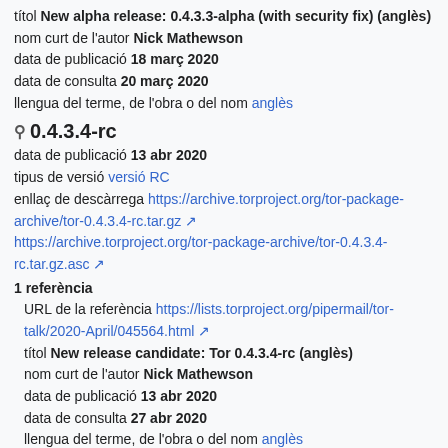títol New alpha release: 0.4.3.3-alpha (with security fix) (anglès)
nom curt de l'autor Nick Mathewson
data de publicació 18 març 2020
data de consulta 20 març 2020
llengua del terme, de l'obra o del nom anglès
0.4.3.4-rc
data de publicació 13 abr 2020
tipus de versió versió RC
enllaç de descàrrega https://archive.torproject.org/tor-package-archive/tor-0.4.3.4-rc.tar.gz https://archive.torproject.org/tor-package-archive/tor-0.4.3.4-rc.tar.gz.asc
1 referència
URL de la referència https://lists.torproject.org/pipermail/tor-talk/2020-April/045564.html
títol New release candidate: Tor 0.4.3.4-rc (anglès)
nom curt de l'autor Nick Mathewson
data de publicació 13 abr 2020
data de consulta 27 abr 2020
llengua del terme, de l'obra o del nom anglès